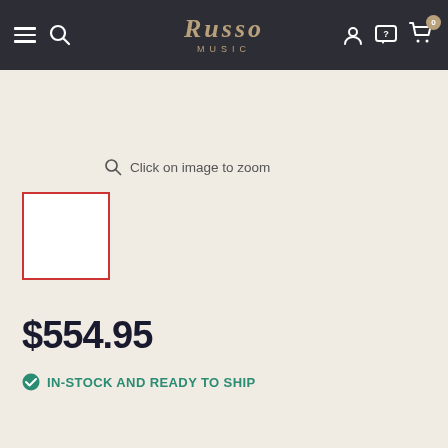Russo Music — navigation bar with hamburger menu, search, logo, account, help, and cart (0 items)
Click on image to zoom
[Figure (photo): Small white thumbnail image placeholder with red border, serving as a product image thumbnail]
$554.95
IN-STOCK AND READY TO SHIP